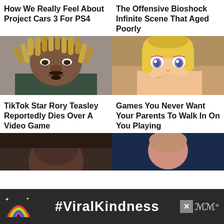How We Really Feel About Project Cars 3 For PS4
The Offensive Bioshock Infinite Scene That Aged Poorly
[Figure (photo): Close-up mugshot photo of a young Black man with blonde twisted/dreadlocked hair]
[Figure (illustration): Anime-style illustration of a blonde girl with blue eyes resting her chin on her hand]
TikTok Star Rory Teasley Reportedly Dies Over A Video Game
Games You Never Want Your Parents To Walk In On You Playing
[Figure (photo): Close-up dark photo of a person's face]
[Figure (photo): Photo of a person against a dark blue background]
#ViralKindness